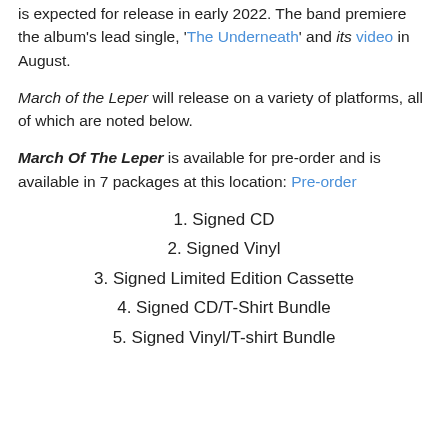is expected for release in early 2022. The band premiere the album's lead single, 'The Underneath' and its video in August.
March of the Leper will release on a variety of platforms, all of which are noted below.
March Of The Leper is available for pre-order and is available in 7 packages at this location: Pre-order
1. Signed CD
2. Signed Vinyl
3. Signed Limited Edition Cassette
4. Signed CD/T-Shirt Bundle
5. Signed Vinyl/T-shirt Bundle